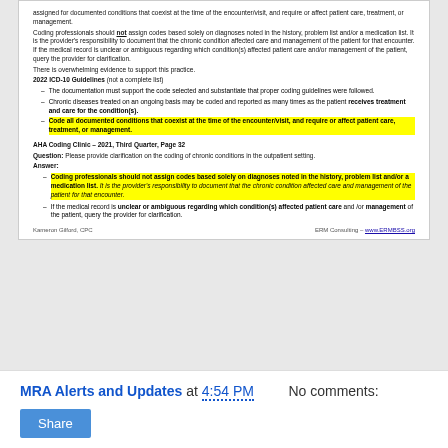assigned for documented conditions that coexist at the time of the encounter/visit, and require or affect patient care, treatment, or management.
Coding professionals should not assign codes based solely on diagnoses noted in the history, problem list and/or a medication list. It is the provider's responsibility to document that the chronic condition affected care and management of the patient for that encounter. If the medical record is unclear or ambiguous regarding which condition(s) affected patient care and/or management of the patient, query the provider for clarification.
There is overwhelming evidence to support this practice.
2022 ICD-10 Guidelines (not a complete list)
The documentation must support the code selected and substantiate that proper coding guidelines were followed.
Chronic diseases treated on an ongoing basis may be coded and reported as many times as the patient receives treatment and care for the condition(s).
Code all documented conditions that coexist at the time of the encounter/visit, and require or affect patient care, treatment, or management.
AHA Coding Clinic – 2021, Third Quarter, Page 32
Question: Please provide clarification on the coding of chronic conditions in the outpatient setting.
Answer:
Coding professionals should not assign codes based solely on diagnoses noted in the history, problem list and/or a medication list. It is the provider's responsibility to document that the chronic condition affected care and management of the patient for that encounter.
If the medical record is unclear or ambiguous regarding which condition(s) affected patient care and /or management of the patient, query the provider for clarification.
Kameron Gilford, CPC    ERM Consulting – www.ERMBSS.org
MRA Alerts and Updates at 4:54 PM    No comments:
Share